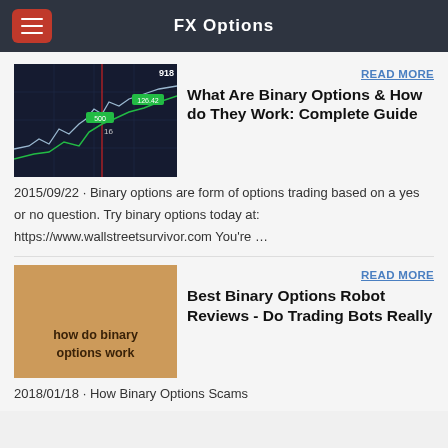FX Options
[Figure (screenshot): Trading chart screenshot showing green candlestick lines on dark blue background with price numbers 918, 500, 16]
READ MORE
What Are Binary Options & How do They Work: Complete Guide
2015/09/22 · Binary options are form of options trading based on a yes or no question. Try binary options today at: https://www.wallstreetsurvivor.com You're …
[Figure (illustration): Tan/orange square with text 'how do binary options work' in dark bold text]
READ MORE
Best Binary Options Robot Reviews - Do Trading Bots Really
2018/01/18 · How Binary Options Scams